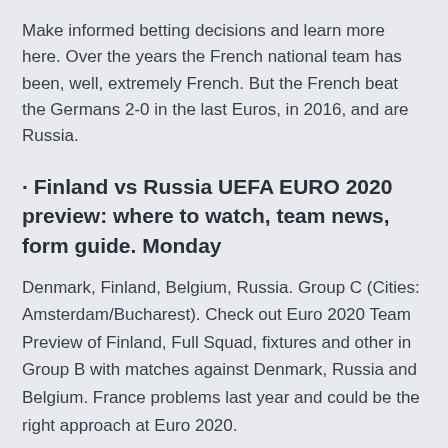Make informed betting decisions and learn more here. Over the years the French national team has been, well, extremely French. But the French beat the Germans 2-0 in the last Euros, in 2016, and are Russia.
· Finland vs Russia UEFA EURO 2020 preview: where to watch, team news, form guide. Monday
Denmark, Finland, Belgium, Russia. Group C (Cities: Amsterdam/Bucharest). Check out Euro 2020 Team Preview of Finland, Full Squad, fixtures and other in Group B with matches against Denmark, Russia and Belgium. France problems last year and could be the right approach at Euro 2020.